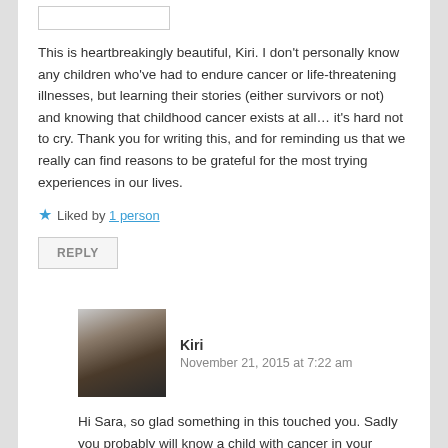This is heartbreakingly beautiful, Kiri. I don't personally know any children who've had to endure cancer or life-threatening illnesses, but learning their stories (either survivors or not) and knowing that childhood cancer exists at all… it's hard not to cry. Thank you for writing this, and for reminding us that we really can find reasons to be grateful for the most trying experiences in our lives.
★ Liked by 1 person
REPLY
Kiri
November 21, 2015 at 7:22 am
Hi Sara, so glad something in this touched you. Sadly you probably will know a child with cancer in your lifetime as the rate is around one in three hundred children before the age of 20.